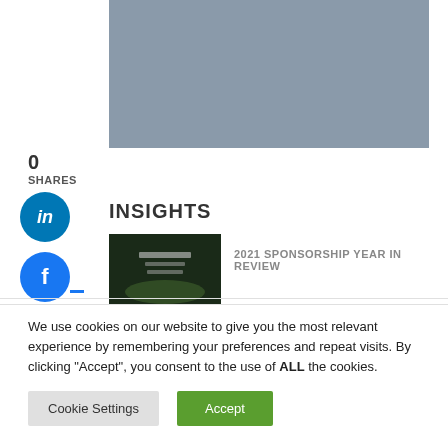[Figure (photo): Grey image placeholder at top of page]
0
SHARES
[Figure (illustration): LinkedIn share button - blue circle with 'in' text]
[Figure (illustration): Facebook share button - blue circle with 'f' text]
INSIGHTS
[Figure (photo): 2021 Sponsorship Year in Review book thumbnail - dark background]
2021 SPONSORSHIP YEAR IN REVIEW
We use cookies on our website to give you the most relevant experience by remembering your preferences and repeat visits. By clicking "Accept", you consent to the use of ALL the cookies.
Cookie Settings
Accept